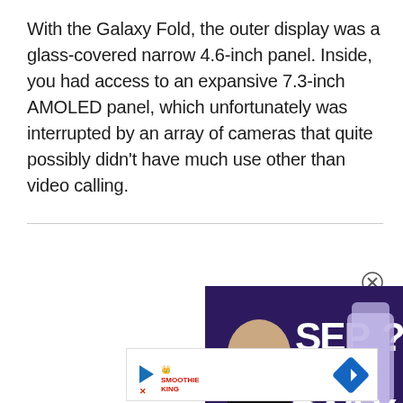With the Galaxy Fold, the outer display was a glass-covered narrow 4.6-inch panel. Inside, you had access to an expansive 7.3-inch AMOLED panel, which unfortunately was interrupted by an array of cameras that quite possibly didn't have much use other than video calling.
[Figure (screenshot): Video thumbnail showing a man, large text 'SEP' with a purple phone and 'DAILY.' text overlay, with a play button in the center]
[Figure (screenshot): Advertisement banner with Smoothie King logo and a blue diamond navigation icon]